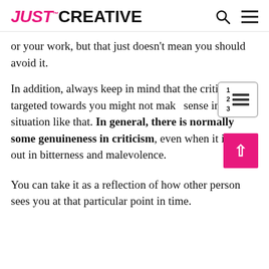JUST™ CREATIVE
or your work, but that just doesn't mean you should avoid it.
In addition, always keep in mind that the criticism targeted towards you might not make sense in a situation like that. In general, there is normally some genuineness in criticism, even when it is given out in bitterness and malevolence.
You can take it as a reflection of how other person sees you at that particular point in time.